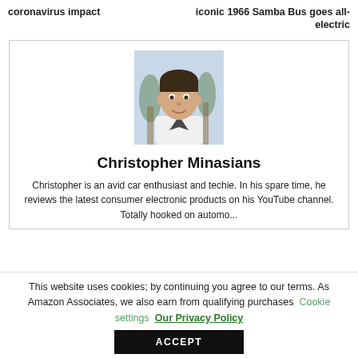coronavirus impact
iconic 1966 Samba Bus goes all-electric
[Figure (photo): Headshot photo of Christopher Minasians, a young man smiling, with palm trees in background]
Christopher Minasians
Christopher is an avid car enthusiast and techie. In his spare time, he reviews the latest consumer electronic products on his YouTube channel. Totally Hooked By Electronics...
This website uses cookies; by continuing you agree to our terms. As Amazon Associates, we also earn from qualifying purchases
Cookie settings
Our Privacy Policy
ACCEPT